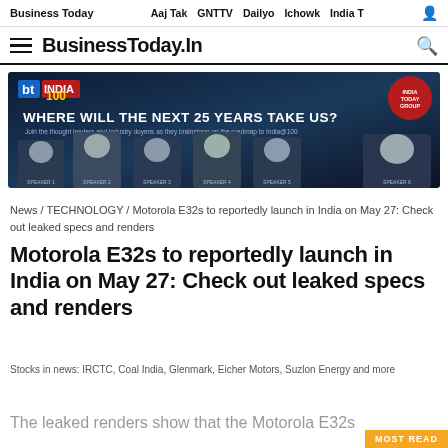Business Today  Aaj Tak  GNTTV  Dailyo  Ichowk  India T
BusinessToday.In
[Figure (photo): Business Today India 100 event advertisement banner with text 'WHERE WILL THE NEXT 25 YEARS TAKE US?' and photos of several prominent speakers/panelists at the bottom.]
News / TECHNOLOGY / Motorola E32s to reportedly launch in India on May 27: Check out leaked specs and renders
Motorola E32s to reportedly launch in India on May 27: Check out leaked specs and renders
Stocks in news: IRCTC, Coal India, Glenmark, Eicher Motors, Suzlon Energy and more
The leaked renders show that the Motorola E32s